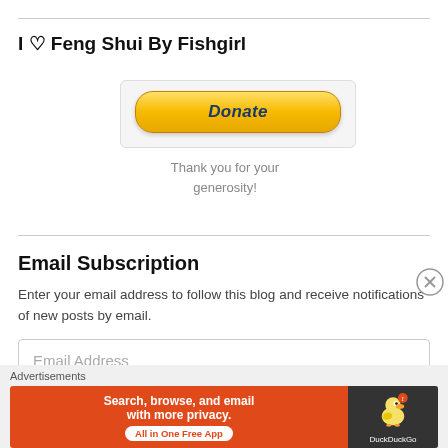I ♡ Feng Shui By Fishgirl
[Figure (other): PayPal Donate button with thank you message below]
Email Subscription
Enter your email address to follow this blog and receive notifications of new posts by email.
Email Address
[Figure (other): DuckDuckGo advertisement banner: Search, browse, and email with more privacy. All in One Free App]